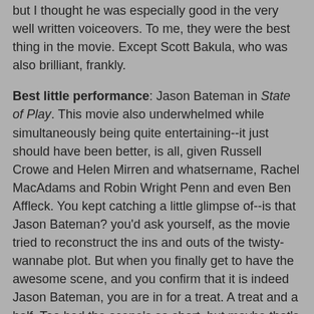but I thought he was especially good in the very well written voiceovers. To me, they were the best thing in the movie. Except Scott Bakula, who was also brilliant, frankly.
Best little performance: Jason Bateman in State of Play. This movie also underwhelmed while simultaneously being quite entertaining--it just should have been better, is all, given Russell Crowe and Helen Mirren and whatsername, Rachel MacAdams and Robin Wright Penn and even Ben Affleck. You kept catching a little glimpse of--is that Jason Bateman? you'd ask yourself, as the movie tried to reconstruct the ins and outs of the twisty-wannabe plot. But when you finally get to have the awesome scene, and you confirm that it is indeed Jason Bateman, you are in for a treat. A treat and a half. Too bad the scene's so short, but maybe that's part of why it's so good. (and speaking of underwhelming, and Jason Bateman--two terms I have never linked, and hope never again to link--why was Extract not more wonderful? Why?)
Best animation: Ponyo, mainly for the underwater life. Also, Up, for everything. Maybe the two should be reversed? (Also, Coraline, just like "Werewolf Bar Mitzvah", spooked!